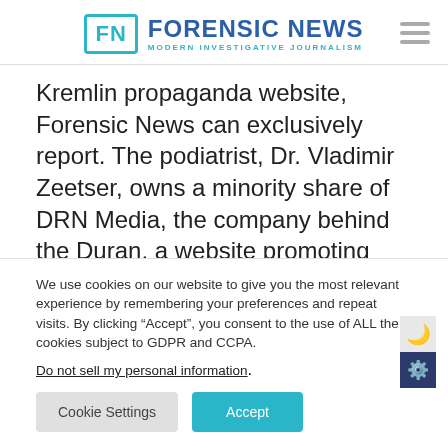FN FORENSIC NEWS MODERN INVESTIGATIVE JOURNALISM
Kremlin propaganda website, Forensic News can exclusively report. The podiatrist, Dr. Vladimir Zeetser, owns a minority share of DRN Media, the company behind the Duran, a website promoting false conspiracy theories echoing Russian state
We use cookies on our website to give you the most relevant experience by remembering your preferences and repeat visits. By clicking “Accept”, you consent to the use of ALL the cookies subject to GDPR and CCPA.
Do not sell my personal information.
Cookie Settings   Accept